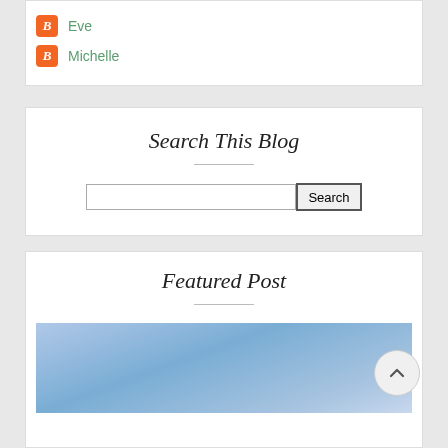Eve
Michelle
Search This Blog
Featured Post
[Figure (photo): Blue sky/water gradient image at the bottom of the page under Featured Post section]